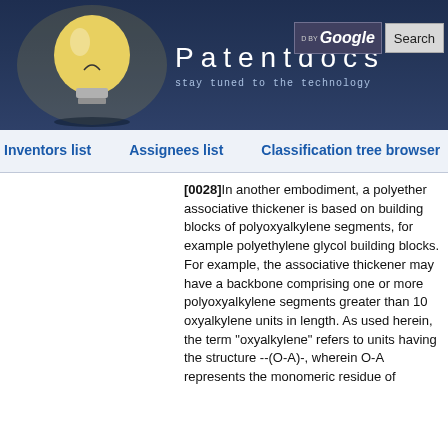Patentdocs — stay tuned to the technology
Inventors list
Assignees list
Classification tree browser
[0028]In another embodiment, a polyether associative thickener is based on building blocks of polyoxyalkylene segments, for example polyethylene glycol building blocks. For example, the associative thickener may have a backbone comprising one or more polyoxyalkylene segments greater than 10 oxyalkylene units in length. As used herein, the term "oxyalkylene" refers to units having the structure --(O-A)-, wherein O-A represents the monomeric residue of